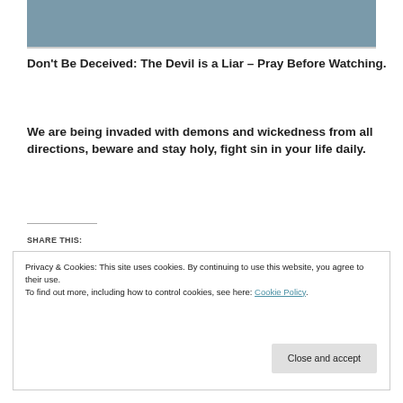[Figure (photo): Top portion of a photo showing a person, partially cropped, with a blurred background in blue-grey tones.]
Don't Be Deceived: The Devil is a Liar – Pray Before Watching.
We are being invaded with demons and wickedness from all directions, beware and stay holy, fight sin in your life daily.
SHARE THIS:
Privacy & Cookies: This site uses cookies. By continuing to use this website, you agree to their use.
To find out more, including how to control cookies, see here: Cookie Policy
Close and accept